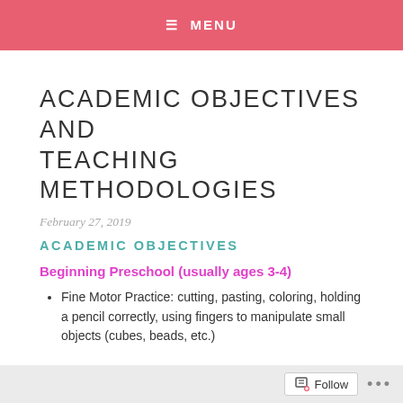≡ MENU
ACADEMIC OBJECTIVES AND TEACHING METHODOLOGIES
February 27, 2019
ACADEMIC OBJECTIVES
Beginning Preschool (usually ages 3-4)
Fine Motor Practice: cutting, pasting, coloring, holding a pencil correctly, using fingers to manipulate small objects (cubes, beads, etc.)
(partially visible second bullet)